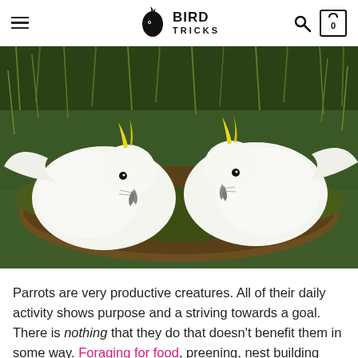BIRD TRICKS
[Figure (photo): Two white sulphur-crested cockatoos with yellow crests foraging together on mossy ground with green grass in the background]
Parrots are very productive creatures. All of their daily activity shows purpose and a striving towards a goal. There is nothing that they do that doesn't benefit them in some way. Foraging for food, preening, nest building